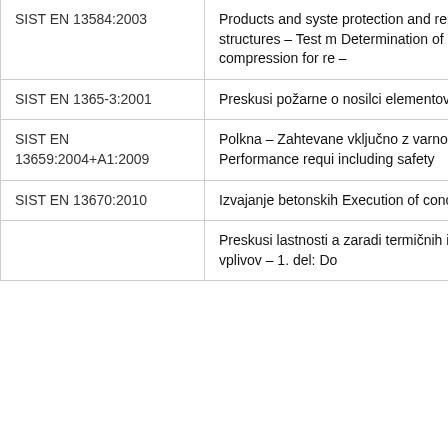| Standard | Description |
| --- | --- |
| SIST EN 13584:2003 | Products and syste protection and rep structures – Test m Determination of c compression for re – |
| SIST EN 1365-3:2001 | Preskusi požarne o nosilci elementov |
| SIST EN 13659:2004+A1:2009 | Polkna – Zahtevane vključno z varnostj Performance requi including safety |
| SIST EN 13670:2010 | Izvajanje betonskih Execution of concre |
|  | Preskusi lastnosti a zaradi termičnih im vplivov – 1. del: Do |